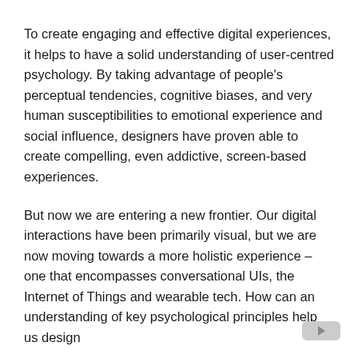To create engaging and effective digital experiences, it helps to have a solid understanding of user-centred psychology. By taking advantage of people's perceptual tendencies, cognitive biases, and very human susceptibilities to emotional experience and social influence, designers have proven able to create compelling, even addictive, screen-based experiences.
But now we are entering a new frontier. Our digital interactions have been primarily visual, but we are now moving towards a more holistic experience – one that encompasses conversational UIs, the Internet of Things and wearable tech. How can an understanding of key psychological principles help us design